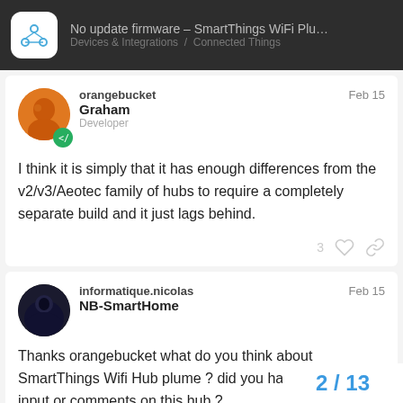No update firmware – SmartThings WiFi Plu… / Devices & Integrations / Connected Things
orangebucket Graham Developer Feb 15
I think it is simply that it has enough differences from the v2/v3/Aeotec family of hubs to require a completely separate build and it just lags behind.
informatique.nicolas NB-SmartHome Feb 15
Thanks orangebucket what do you think about SmartThings Wifi Hub plume ? did you have any usage input or comments on this hub.?
2 / 13